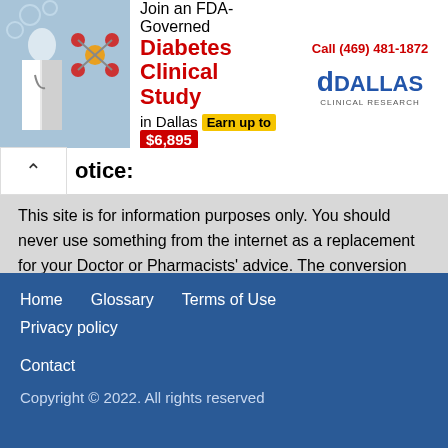[Figure (infographic): Advertisement banner for a Diabetes Clinical Study in Dallas. Shows a photo of a doctor, a molecule graphic, text reading 'Join an FDA-Governed Diabetes Clinical Study in Dallas Earn up to $6,895', and a phone number 'Call (469) 481-1872' with a Dallas Clinical Research logo.]
Notice:
This site is for information purposes only. You should never use something from the internet as a replacement for your Doctor or Pharmacists' advice. The conversion factors are derived from the current literature and have been applied as published. Therefore we cannot take any responsibility for the validity of the published conversion factors.
We are happy to enlarge the list of parameters. Please use the contact form and add details.
Home   Glossary   Terms of Use   Privacy policy   Contact   Copyright © 2022. All rights reserved